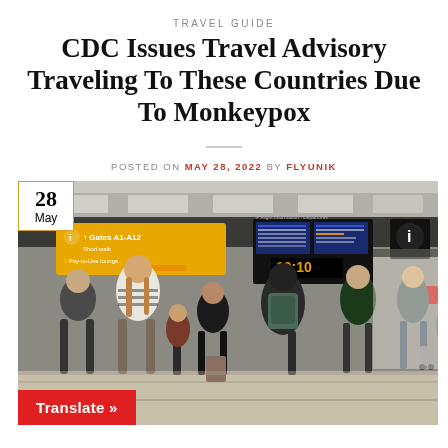TRAVEL GUIDE
CDC Issues Travel Advisory Traveling To These Countries Due To Monkeypox
POSTED ON MAY 28, 2022 BY FLYUNIK
[Figure (photo): Busy airport terminal with travelers looking at departures board, yellow gate signs, and a date badge showing 28 May. A red Translate button appears in the bottom left.]